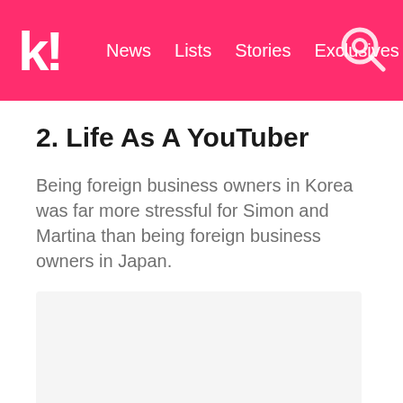k! News Lists Stories Exclusives
2. Life As A YouTuber
Being foreign business owners in Korea was far more stressful for Simon and Martina than being foreign business owners in Japan.
[Figure (photo): Image placeholder / embedded media area (light gray rectangle)]